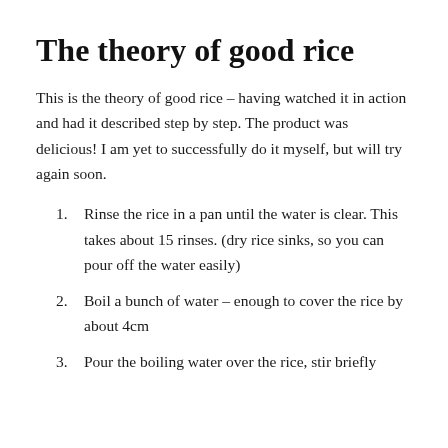The theory of good rice
This is the theory of good rice – having watched it in action and had it described step by step. The product was delicious! I am yet to successfully do it myself, but will try again soon.
Rinse the rice in a pan until the water is clear. This takes about 15 rinses. (dry rice sinks, so you can pour off the water easily)
Boil a bunch of water – enough to cover the rice by about 4cm
Pour the boiling water over the rice, stir briefly